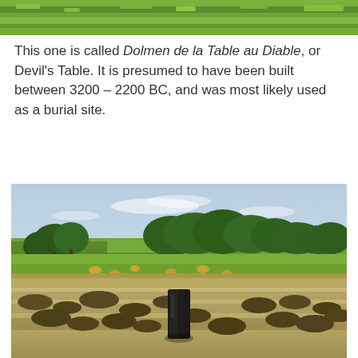[Figure (photo): Top portion of a photo showing green grass/field, partially cropped at top of page]
This one is called Dolmen de la Table au Diable, or Devil's Table. It is presumed to have been built between 3200 – 2200 BC, and was most likely used as a burial site.
[Figure (photo): Landscape photo of a countryside field with a dark standing stone (menhir) in the foreground, dry grass and scrubland around it, green fields with hay bales and trees in the background under a partly cloudy sky]